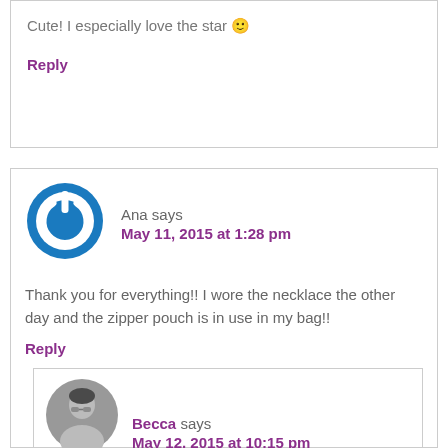Cute! I especially love the star 🙂
Reply
Ana says
May 11, 2015 at 1:28 pm
Thank you for everything!! I wore the necklace the other day and the zipper pouch is in use in my bag!!
Reply
Becca says
May 12, 2015 at 10:15 pm